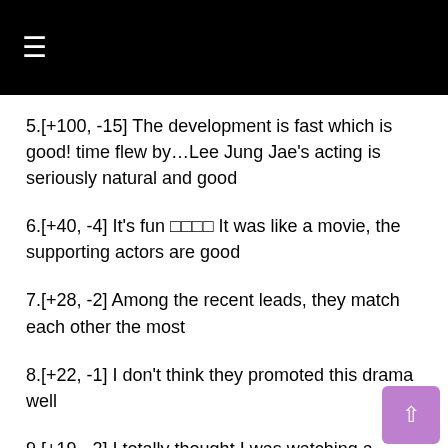≡
5.[+100, -15] The development is fast which is good! time flew by...Lee Jung Jae's acting is seriously natural and good
6.[+40, -4] It's fun □□□□ It was like a movie, the supporting actors are good
7.[+28, -2] Among the recent leads, they match each other the most
8.[+22, -1] I don't think they promoted this drama well
9.[+19, -2] I totally thought I was watching a